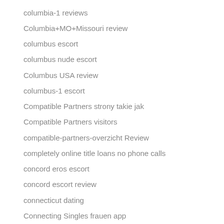columbia-1 reviews
Columbia+MO+Missouri review
columbus escort
columbus nude escort
Columbus USA review
columbus-1 escort
Compatible Partners strony takie jak
Compatible Partners visitors
compatible-partners-overzicht Review
completely online title loans no phone calls
concord eros escort
concord escort review
connecticut dating
Connecting Singles frauen app
connecting-singles-inceleme adult-dating